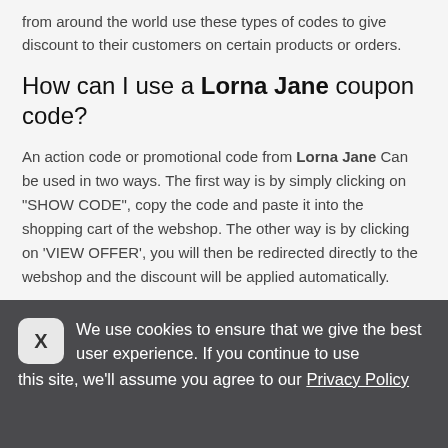from around the world use these types of codes to give discount to their customers on certain products or orders.
How can I use a Lorna Jane coupon code?
An action code or promotional code from Lorna Jane Can be used in two ways. The first way is by simply clicking on "SHOW CODE", copy the code and paste it into the shopping cart of the webshop. The other way is by clicking on 'VIEW OFFER', you will then be redirected directly to the webshop and the discount will be applied automatically.
We use cookies to ensure that we give the best user experience. If you continue to use this site, we'll assume you agree to our Privacy Policy